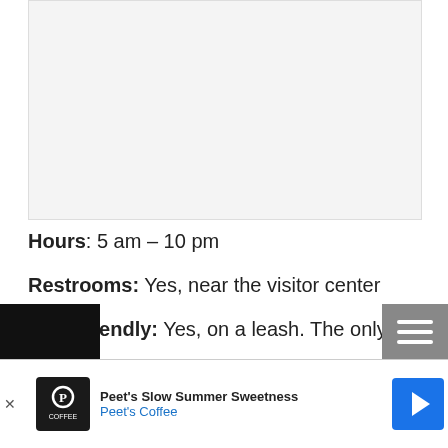[Figure (photo): Light gray placeholder image area at top of page]
Hours: 5 am – 10 pm
Restrooms: Yes, near the visitor center
Dog-Friendly: Yes, on a leash. The only place dogs aren't allowed are on the Huckleberry...
[Figure (other): Advertisement bar at bottom: Peet's Slow Summer Sweetness - Peet's Coffee with navigation arrow icon]